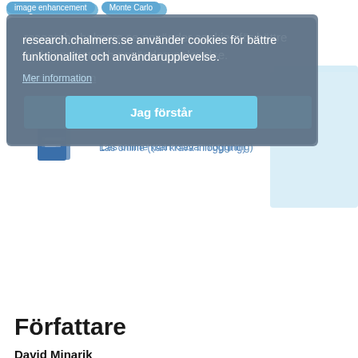image enhancement   Monte Carlo
research.chalmers.se använder cookies för bättre funktionalitet och användarupplevelse. Mer information   Läs online (kan kräva inloggning)   Jag förstår
Författare
David Minarik
Skånes universitetssjukhus (SUS)
Olof Enqvist
Eigenvision AB
Chalmers, Elektroteknik, Signalbehandling och medicinsk teknik
Forskning   Andra publikationer
E. Tragardh
Wallenberg Center for Molecular Medicine